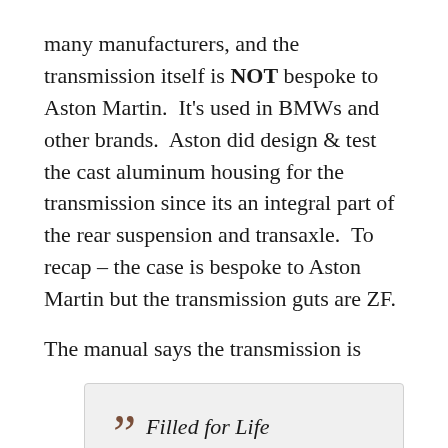many manufacturers, and the transmission itself is NOT bespoke to Aston Martin.  It's used in BMWs and other brands.  Aston did design & test the cast aluminum housing for the transmission since its an integral part of the rear suspension and transaxle.  To recap – the case is bespoke to Aston Martin but the transmission guts are ZF.
The manual says the transmission is
Filled for Life
Implying that there is no service required _ever_ for this